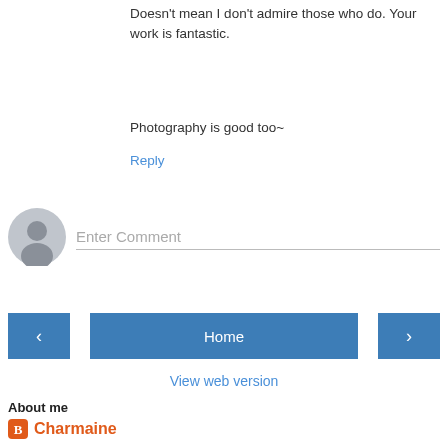Doesn't mean I don't admire those who do. Your work is fantastic.
Photography is good too~
Reply
[Figure (other): Comment input area with user avatar circle and 'Enter Comment' placeholder text field]
[Figure (other): Navigation buttons: left arrow, Home, right arrow in blue]
View web version
About me
Charmaine
Vancouver, British Columbia, Canada
Having switched professions from ophthalmology to pastry, I hope this new chapter in life will be filled with joy, pride, creativity and success. This is my story!